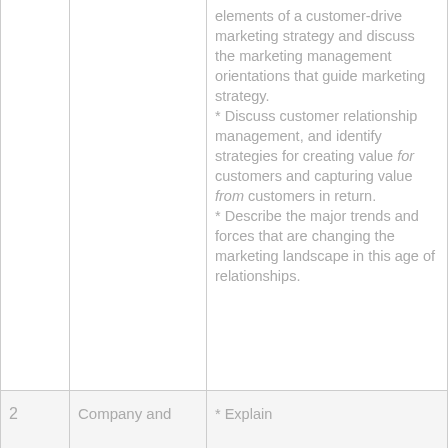| Chapter | Title | Learning Objectives |
| --- | --- | --- |
|  |  | elements of a customer-drive marketing strategy and discuss the marketing management orientations that guide marketing strategy.
* Discuss customer relationship management, and identify strategies for creating value for customers and capturing value from customers in return.
* Describe the major trends and forces that are changing the marketing landscape in this age of relationships. |
| 2 | Company and | * Explain |